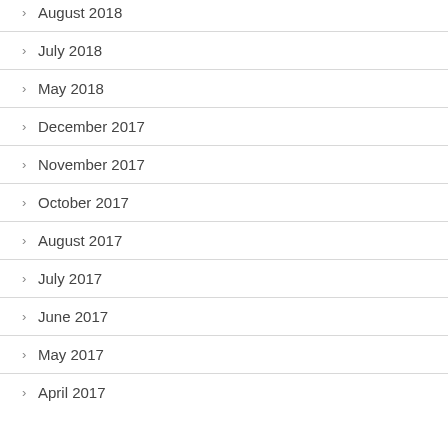August 2018
July 2018
May 2018
December 2017
November 2017
October 2017
August 2017
July 2017
June 2017
May 2017
April 2017